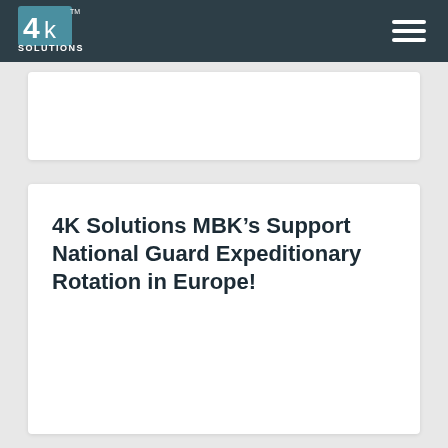4k Solutions — navigation header with logo and hamburger menu
4K Solutions MBK's Support National Guard Expeditionary Rotation in Europe!